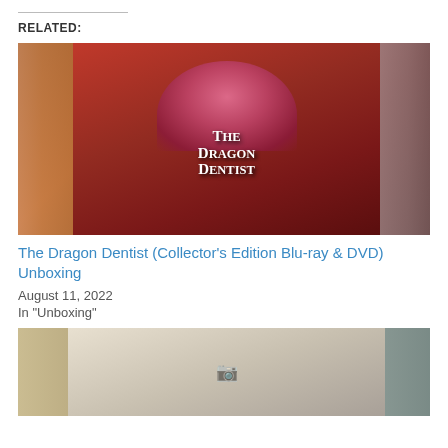RELATED:
[Figure (photo): Photo of The Dragon Dentist anime Collector's Edition Blu-ray & DVD box set cover, held up in front of a bookshelf. The cover features a red-toned illustration with an arch/dragon-mouth shape and the title 'The Dragon Dentist' in stylized white text.]
The Dragon Dentist (Collector’s Edition Blu-ray & DVD) Unboxing
August 11, 2022
In "Unboxing"
[Figure (photo): Partially visible photo of what appears to be another anime-related item, possibly a manga or art book featuring a maid character illustration, shown in front of a bookshelf.]